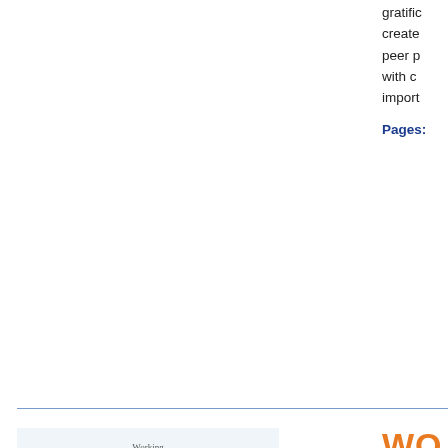gratification… creates… peer p… with c… import…
Pages:
WO
Product
Price
Quantity
Managing the Demands and Delights of Marriage, Parenting, and Career — very s… lifestyle… shows… meet f… her ba… families… purpo… encou…
[Figure (illustration): Book cover of 'Working Families: Navigating the Demands and Delights of Marriage, Parenting, and Career' by Jay Jordan-Lake, showing two people on a sailboat]
More Details